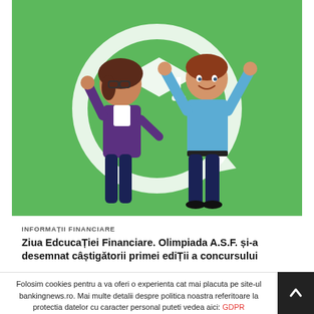[Figure (illustration): Green background with two cartoon characters — a woman in purple jacket with glasses and a man in blue shirt celebrating with arms raised, with a graduation cap and circular arrow logo in the background]
INFORMAȚII FINANCIARE
Ziua Edcucației Financiare. Olimpiada A.S.F. și-a desemnat câștigătorii primei ediții a concursului
Folosim cookies pentru a va oferi o experienta cat mai placuta pe site-ul bankingnews.ro. Mai multe detalii despre politica noastra referitoare la protectia datelor cu caracter personal puteti vedea aici: GDPR a de Confidentialitate   Setari Cookie   Accepta